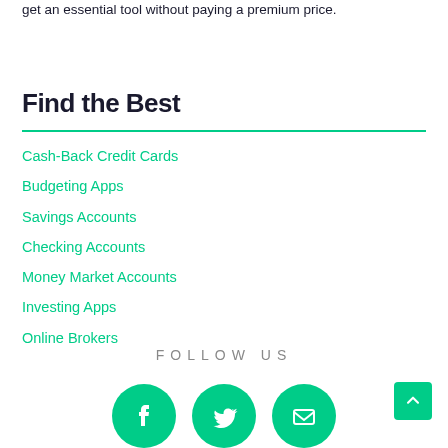get an essential tool without paying a premium price.
Find the Best
Cash-Back Credit Cards
Budgeting Apps
Savings Accounts
Checking Accounts
Money Market Accounts
Investing Apps
Online Brokers
FOLLOW US
[Figure (illustration): Three green circular social media icons (Facebook, Twitter, Email/other) partially visible at bottom of page, plus a green back-to-top arrow button in the bottom right corner]